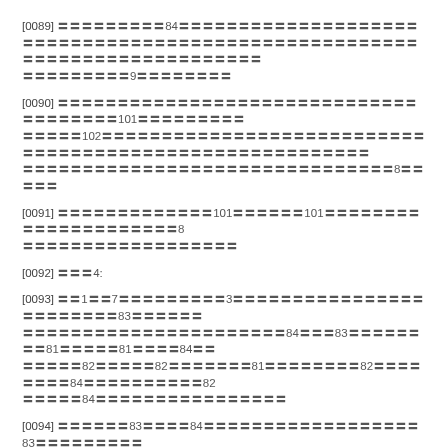[0089] 〓〓〓〓〓〓〓〓〓84〓〓〓〓〓〓〓〓〓〓〓〓〓〓〓〓〓〓〓〓〓〓〓〓〓〓〓〓〓〓〓〓〓〓〓〓〓〓〓〓〓〓〓〓〓9〓〓〓〓〓〓〓〓
[0090] 〓〓〓〓〓〓〓〓〓〓〓〓〓〓〓〓〓〓〓〓〓〓〓〓〓〓〓〓〓〓〓〓〓〓〓〓〓〓101〓〓〓〓〓〓〓〓〓102〓〓〓〓〓〓〓〓〓〓〓〓〓〓〓〓〓〓〓〓〓〓〓〓〓〓〓〓〓〓〓〓〓〓〓〓〓〓〓〓〓〓〓〓〓〓8〓〓〓〓〓
[0091] 〓〓〓〓〓〓〓〓〓〓〓〓〓101〓〓〓〓〓〓101〓〓〓〓〓〓〓〓〓〓〓〓〓〓〓〓〓〓〓〓〓8〓〓〓〓〓〓〓〓〓〓〓〓〓〓〓〓〓〓
[0092] 〓〓〓4:
[0093] 〓〓1〓〓7〓〓〓〓〓〓〓〓〓〓3〓〓〓〓〓〓〓〓〓〓〓〓〓〓〓〓〓〓〓〓〓〓〓〓83〓〓〓〓〓〓〓〓〓〓〓〓〓〓〓〓〓〓〓〓〓〓〓〓〓〓〓〓84〓〓〓83〓〓〓〓〓〓〓〓81〓〓〓〓〓81〓〓〓〓84〓〓〓〓〓〓〓82〓〓〓〓〓82〓〓〓〓〓〓〓81〓〓〓〓〓〓〓〓82〓〓〓〓〓〓〓〓84〓〓〓〓〓〓〓〓〓〓82〓〓〓〓〓84〓〓〓〓〓〓〓〓〓〓〓〓〓〓〓〓
[0094] 〓〓〓〓〓〓83〓〓〓〓84〓〓〓〓〓〓〓〓〓〓〓〓〓〓〓〓〓〓83〓〓〓〓〓〓〓〓〓〓〓〓〓〓〓〓〓〓〓〓〓〓〓〓〓〓〓〓〓〓〓〓〓〓〓〓〓〓〓〓〓84〓〓〓〓〓〓
[0095] 〓〓〓〓〓〓〓〓〓〓81〓〓〓〓〓83〓〓〓〓〓〓〓〓〓〓〓〓〓82〓〓〓〓〓84〓〓〓〓〓〓〓〓〓〓〓〓〓〓〓〓〓〓〓〓〓〓〓〓〓〓〓〓〓82〓〓〓〓〓〓〓〓82〓〓〓〓〓〓〓〓〓〓〓〓〓〓〓〓〓〓〓〓〓84〓
[0096] 〓〓〓〓〓〓〓〓〓〓82〓〓〓〓〓〓〓〓〓〓〓〓〓〓〓83〓〓〓〓〓〓〓〓〓82〓〓〓〓〓〓〓〓〓